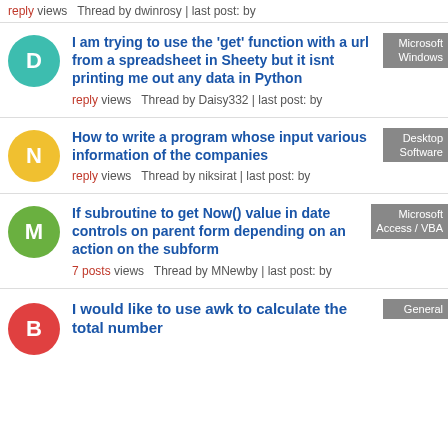reply views  Thread by dwinrosy | last post: by
I am trying to use the 'get' function with a url from a spreadsheet in Sheety but it isnt printing me out any data in Python — reply views  Thread by Daisy332 | last post: by — tag: Microsoft Windows
How to write a program whose input various information of the companies — reply views  Thread by niksirat | last post: by — tag: Desktop Software
If subroutine to get Now() value in date controls on parent form depending on an action on the subform — 7 posts views  Thread by MNewby | last post: by — tag: Microsoft Access / VBA
I would like to use awk to calculate the total number — tag: General